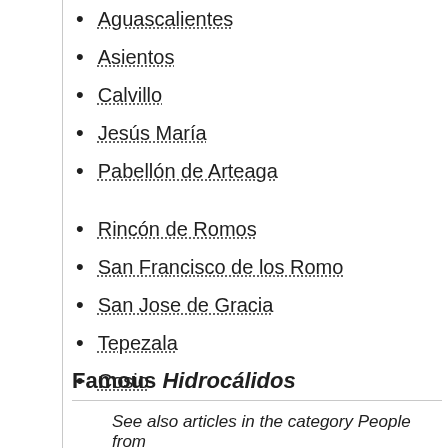Aguascalientes
Asientos
Calvillo
Jesús María
Pabellón de Arteaga
Rincón de Romos
San Francisco de los Romo
San Jose de Gracia
Tepezala
Cosio
Famous Hidrocálidos
See also articles in the category People from